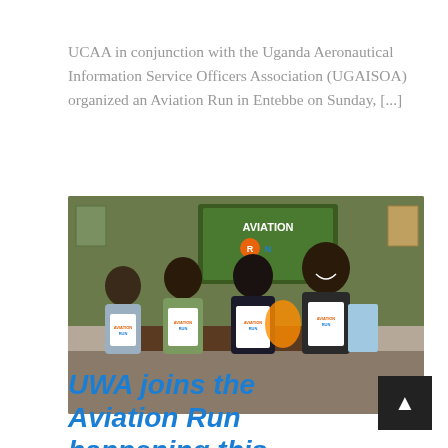UCAA in conjunction with the Uganda Aeronautical Information Service Officers Association (UGAISOA) organized an Aviation Run in Entebbe on Sunday, [...]
[Figure (photo): Group of people holding white Aviation Run t-shirts in front of an Aviation Run banner]
UWA joins the Aviation Run happening this